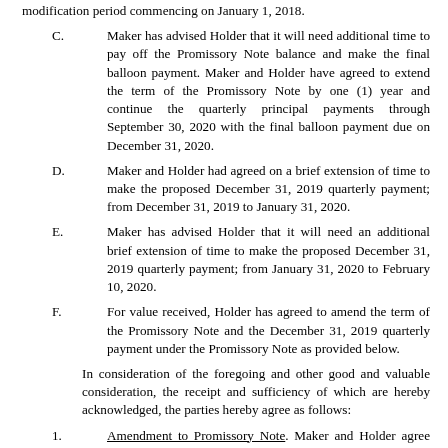modification period commencing on January 1, 2018.
C. Maker has advised Holder that it will need additional time to pay off the Promissory Note balance and make the final balloon payment. Maker and Holder have agreed to extend the term of the Promissory Note by one (1) year and continue the quarterly principal payments through September 30, 2020 with the final balloon payment due on December 31, 2020.
D. Maker and Holder had agreed on a brief extension of time to make the proposed December 31, 2019 quarterly payment; from December 31, 2019 to January 31, 2020.
E. Maker has advised Holder that it will need an additional brief extension of time to make the proposed December 31, 2019 quarterly payment; from January 31, 2020 to February 10, 2020.
F. For value received, Holder has agreed to amend the term of the Promissory Note and the December 31, 2019 quarterly payment under the Promissory Note as provided below.
In consideration of the foregoing and other good and valuable consideration, the receipt and sufficiency of which are hereby acknowledged, the parties hereby agree as follows:
1. Amendment to Promissory Note. Maker and Holder agree that Section 1 of the Promissory Note is hereby deleted in its entirety and replaced with the following: